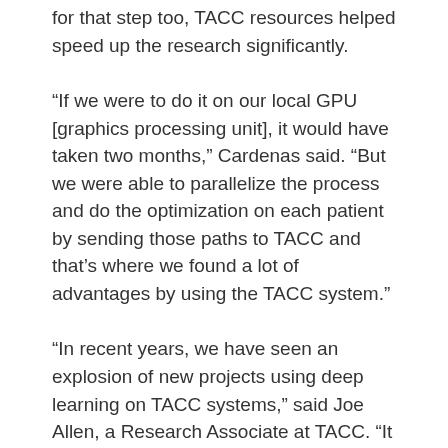for that step too, TACC resources helped speed up the research significantly.
“If we were to do it on our local GPU [graphics processing unit], it would have taken two months,” Cardenas said. “But we were able to parallelize the process and do the optimization on each patient by sending those paths to TACC and that’s where we found a lot of advantages by using the TACC system.”
“In recent years, we have seen an explosion of new projects using deep learning on TACC systems,” said Joe Allen, a Research Associate at TACC. “It is exciting and fulfilling for us to be able to support Carlos’s research, which is so closely tied to real medical care.”
The project is specifically intended to help low-and-middle income countries where expertise in contouring is rarer, although it is likely that the tools will also be useful